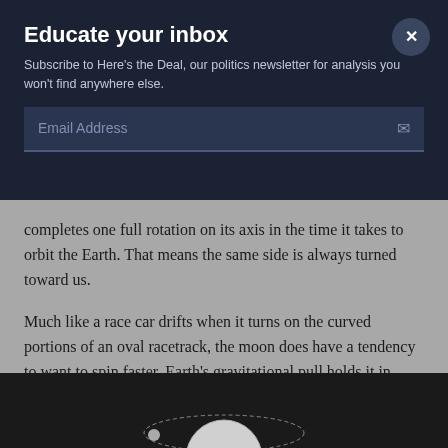Educate your inbox
Subscribe to Here's the Deal, our politics newsletter for analysis you won't find anywhere else.
completes one full rotation on its axis in the time it takes to orbit the Earth. That means the same side is always turned toward us.
Much like a race car drifts when it turns on the curved portions of an oval racetrack, the moon does have a tendency to want to spin faster. Earth's gravitational pull holds it in place.
[Figure (photo): Bottom image strip showing a moon and orbital diagram against a dark background]